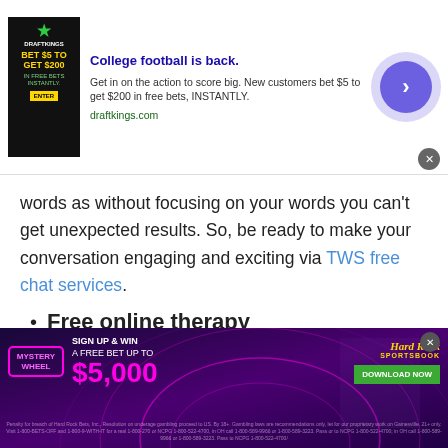[Figure (screenshot): DraftKings advertisement banner — College football is back. Get in on the action to score big. New customers bet $5 to get $200 in free bets, INSTANTLY. draftkings.com]
words as without focusing on your words you can't get unexpected results. So, be ready to make your conversation engaging and exciting via TWS free chat services.
Free online therapy
Talk to strangers in Georgia by joining TWS free online therapy chat room. If you are the person who really needs help to overcome anxiety and
[Figure (screenshot): Hard Rock Sportsbook advertisement — Mystery Wheel, Sign Up & Win a Free Bet Up To $5,000, Download Now]